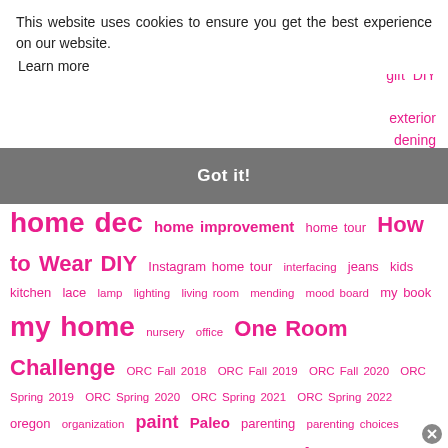This website uses cookies to ensure you get the best experience on our website. Learn more
Got it!
sement ng tips stumes gift DIY exterior dening holiday
home dec home improvement home tour How to Wear DIY Instagram home tour interfacing jeans kids kitchen lace lamp lighting living room mending mood board my book my home nursery office One Room Challenge ORC Fall 2018 ORC Fall 2019 ORC Fall 2020 ORC Spring 2019 ORC Spring 2020 ORC Spring 2021 ORC Spring 2022 oregon organization paint Paleo parenting parenting choices parties passions patterns photography podcast Portland pregnancy primer project goals recipe recognition recycled rugs sewing sewing circle sewing inspiration sewing room shopping Silhouette slipcover sponsor spray paint stamp Stanley 90's reno Stanley 90's reno weekly update Stanley Tudor Revived staple gun stencil stress table tee the pillow tutorials thrifting tile toddler townhouse progress toys travel